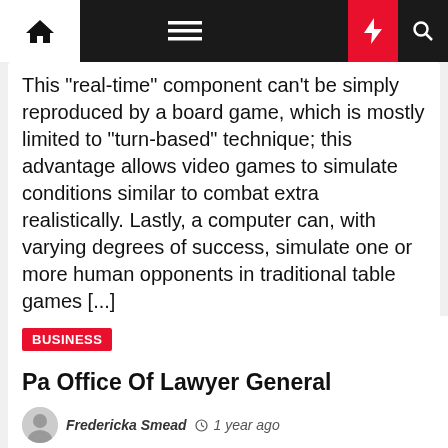Navigation bar with home, menu, moon, flash, and search icons
This "real-time" component can't be simply reproduced by a board game, which is mostly limited to "turn-based" technique; this advantage allows video games to simulate conditions similar to combat extra realistically. Lastly, a computer can, with varying degrees of success, simulate one or more human opponents in traditional table games [...]
BUSINESS
Pa Office Of Lawyer General
Fredericka Smead   1 year ago
You can check which smartphones are